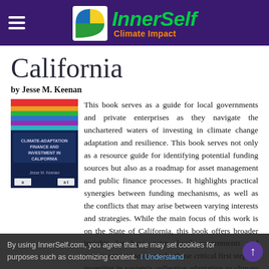InnerSelf Climate Impact
California
by Jesse M. Keenan
[Figure (photo): Book cover of a climate adaptation finance and investment book]
This book serves as a guide for local governments and private enterprises as they navigate the unchartered waters of investing in climate change adaptation and resilience. This book serves not only as a resource guide for identifying potential funding sources but also as a roadmap for asset management and public finance processes. It highlights practical synergies between funding mechanisms, as well as the conflicts that may arise between varying interests and strategies. While the main focus of this work is on the State of California, this book offers broader insights for how states, local governments and private enterprises can take those critical first steps in investing in society's collective adaptation to climate change. Available On Amazon
By using InnerSelf.com, you agree that we may set cookies for purposes such as customizing content. I Understand